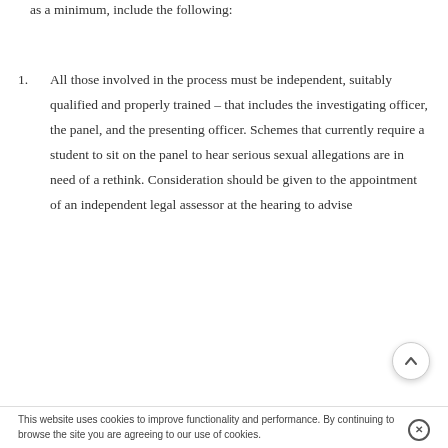as a minimum, include the following:
All those involved in the process must be independent, suitably qualified and properly trained – that includes the investigating officer, the panel, and the presenting officer. Schemes that currently require a student to sit on the panel to hear serious sexual allegations are in need of a rethink. Consideration should be given to the appointment of an independent legal assessor at the hearing to advise
This website uses cookies to improve functionality and performance. By continuing to browse the site you are agreeing to our use of cookies.